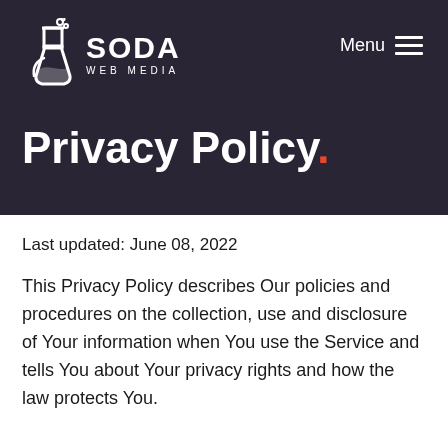[Figure (logo): Soda Web Media logo with flask/bubbles icon and white text]
Privacy Policy.
Last updated: June 08, 2022
This Privacy Policy describes Our policies and procedures on the collection, use and disclosure of Your information when You use the Service and tells You about Your privacy rights and how the law protects You.